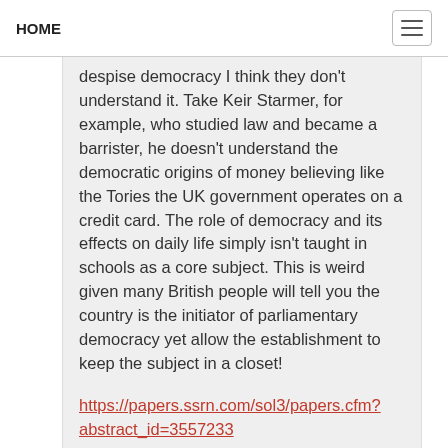HOME
despise democracy I think they don't understand it. Take Keir Starmer, for example, who studied law and became a barrister, he doesn't understand the democratic origins of money believing like the Tories the UK government operates on a credit card. The role of democracy and its effects on daily life simply isn't taught in schools as a core subject. This is weird given many British people will tell you the country is the initiator of parliamentary democracy yet allow the establishment to keep the subject in a closet!
https://papers.ssrn.com/sol3/papers.cfm?abstract_id=3557233